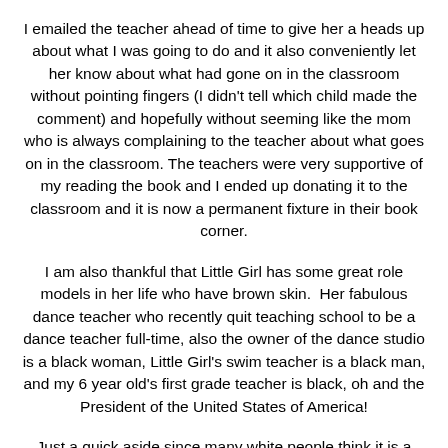I emailed the teacher ahead of time to give her a heads up about what I was going to do and it also conveniently let her know about what had gone on in the classroom without pointing fingers (I didn't tell which child made the comment) and hopefully without seeming like the mom who is always complaining to the teacher about what goes on in the classroom. The teachers were very supportive of my reading the book and I ended up donating it to the classroom and it is now a permanent fixture in their book corner.
I am also thankful that Little Girl has some great role models in her life who have brown skin. Her fabulous dance teacher who recently quit teaching school to be a dance teacher full-time, also the owner of the dance studio is a black woman, Little Girl's swim teacher is a black man, and my 6 year old's first grade teacher is black, oh and the President of the United States of America!
Just a quick aside since many white people think it is a respectful term, from what I hear from black people, most don't really like the term "African American". "Just call me black," one lady told a group of adoptive parents I am a part of. Unlike my Ethiopian daughter, many black people have never lived in Africa and to say they are "African American" makes them [text continues...]